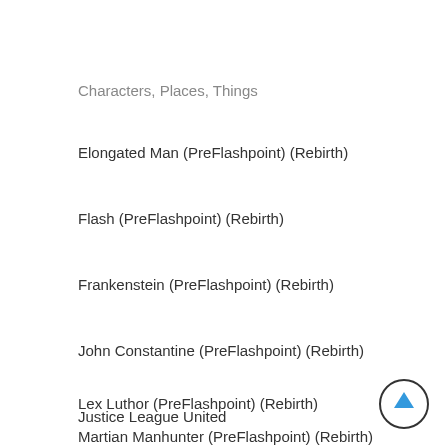Characters, Places, Things
Elongated Man (PreFlashpoint) (Rebirth)
Flash (PreFlashpoint) (Rebirth)
Frankenstein (PreFlashpoint) (Rebirth)
John Constantine (PreFlashpoint) (Rebirth)
Justice League United
Lex Luthor (PreFlashpoint) (Rebirth)
Martian Manhunter (PreFlashpoint) (Rebirth)